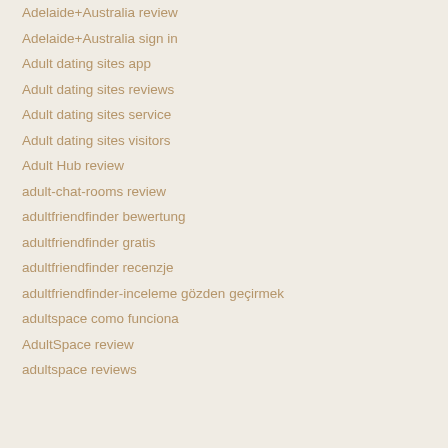Adelaide+Australia review
Adelaide+Australia sign in
Adult dating sites app
Adult dating sites reviews
Adult dating sites service
Adult dating sites visitors
Adult Hub review
adult-chat-rooms review
adultfriendfinder bewertung
adultfriendfinder gratis
adultfriendfinder recenzje
adultfriendfinder-inceleme gözden geçirmek
adultspace como funciona
AdultSpace review
adultspace reviews